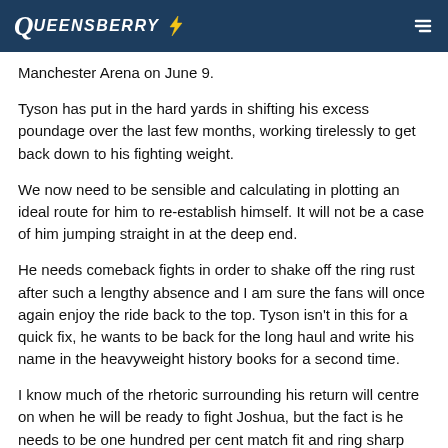QUEENSBERRY [logo]
Manchester Arena on June 9.
Tyson has put in the hard yards in shifting his excess poundage over the last few months, working tirelessly to get back down to his fighting weight.
We now need to be sensible and calculating in plotting an ideal route for him to re-establish himself. It will not be a case of him jumping straight in at the deep end.
He needs comeback fights in order to shake off the ring rust after such a lengthy absence and I am sure the fans will once again enjoy the ride back to the top. Tyson isn't in this for a quick fix, he wants to be back for the long haul and write his name in the heavyweight history books for a second time.
I know much of the rhetoric surrounding his return will centre on when he will be ready to fight Joshua, but the fact is he needs to be one hundred per cent match fit and ring sharp before thoughts turn to such